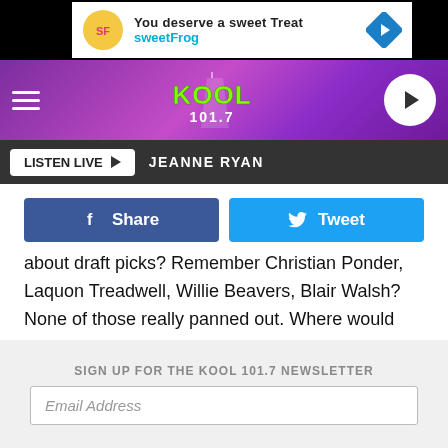[Figure (screenshot): SweetFrog advertisement banner with logo, text 'You deserve a sweet Treat' and 'sweetFrog', and a diamond-shaped navigation icon]
[Figure (logo): Kool 101.7 radio station header with purple gradient background, hamburger menu, Kool 101.7 logo, and white circular play button]
LISTEN LIVE ▶   JEANNE RYAN
[Figure (infographic): Facebook Share button (dark blue) and Twitter Tweet button (light blue) side by side]
about draft picks? Remember Christian Ponder, Laquon Treadwell, Willie Beavers, Blair Walsh? None of those really panned out. Where would the Vikings be if they could have kept the defense from a couple of years ago and still have the offense we have now. Yes, in the Super Bowl!
SIGN UP FOR THE KOOL 101.7 NEWSLETTER
Email Address